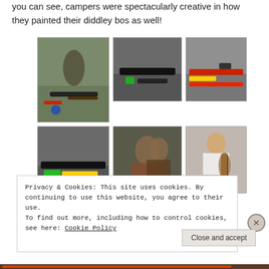you can see, campers were spectacularly creative in how they painted their diddley bos as well!
[Figure (photo): Child painting a diddley bo on the ground]
[Figure (photo): Close-up of a diddley bo being painted on concrete]
[Figure (photo): Colorful painted diddley bo on ground]
[Figure (photo): Diddley bo with green and yellow paint on floor]
[Figure (photo): Campers sitting and playing diddley bos]
[Figure (photo): Child playing violin]
Privacy & Cookies: This site uses cookies. By continuing to use this website, you agree to their use.
To find out more, including how to control cookies, see here: Cookie Policy
Close and accept